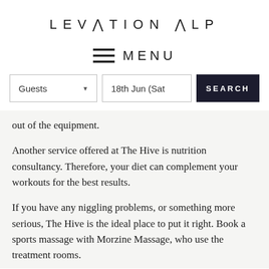[Figure (logo): Elevation Alps logo with stylized mountain peak in the letter A]
MENU
Guests  |  18th Jun (Sat  |  SEARCH
out of the equipment.
Another service offered at The Hive is nutrition consultancy. Therefore, your diet can complement your workouts for the best results.
If you have any niggling problems, or something more serious, The Hive is the ideal place to put it right. Book a sports massage with Morzine Massage, who use the treatment rooms.